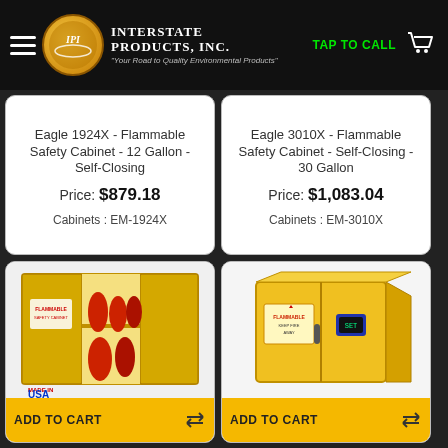Interstate Products, Inc. — TAP TO CALL
Eagle 1924X - Flammable Safety Cabinet - 12 Gallon - Self-Closing
Price: $879.18
Cabinets : EM-1924X
Eagle 3010X - Flammable Safety Cabinet - Self-Closing - 30 Gallon
Price: $1,083.04
Cabinets : EM-3010X
[Figure (photo): Yellow flammable safety cabinet with doors open showing stored containers inside, Made in USA label]
[Figure (photo): Yellow flammable safety cabinet closed, front view showing warning labels]
ADD TO CART
ADD TO CART